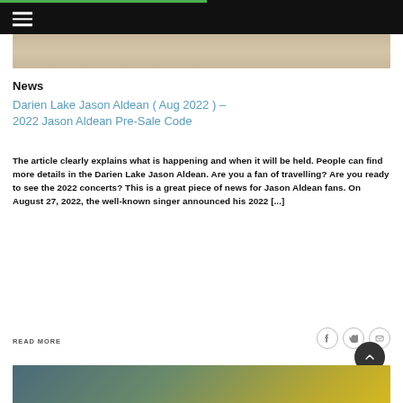Navigation bar with hamburger menu
[Figure (photo): Top image showing a wooden surface]
News
Darien Lake Jason Aldean ( Aug 2022 ) – 2022 Jason Aldean Pre-Sale Code
The article clearly explains what is happening and when it will be held. People can find more details in the Darien Lake Jason Aldean. Are you a fan of travelling? Are you ready to see the 2022 concerts? This is a great piece of news for Jason Aldean fans. On August 27, 2022, the well-known singer announced his 2022 [...]
READ MORE
[Figure (photo): Bottom image partially visible, appears to show colorful objects]